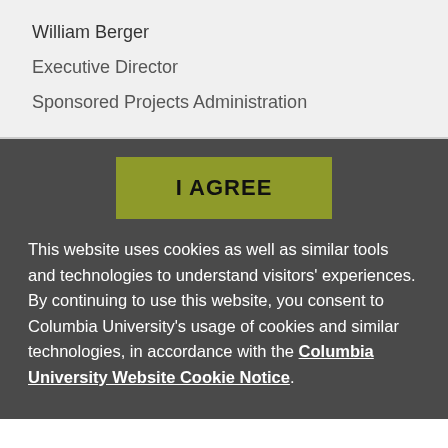William Berger
Executive Director
Sponsored Projects Administration
[Figure (screenshot): I AGREE button (olive/yellow-green background, dark text)]
This website uses cookies as well as similar tools and technologies to understand visitors' experiences. By continuing to use this website, you consent to Columbia University's usage of cookies and similar technologies, in accordance with the Columbia University Website Cookie Notice.